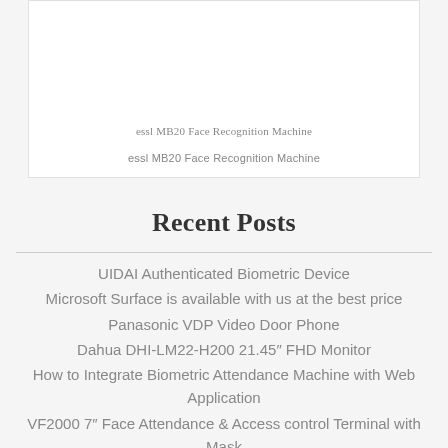[Figure (photo): White box containing an image of essl MB20 Face Recognition Machine]
essl MB20 Face Recognition Machine
Recent Posts
UIDAI Authenticated Biometric Device
Microsoft Surface is available with us at the best price
Panasonic VDP Video Door Phone
Dahua DHI-LM22-H200 21.45" FHD Monitor
How to Integrate Biometric Attendance Machine with Web Application
VF2000 7" Face Attendance & Access control Terminal with Mask
Lextel LX-7413 Speaker caller id phone